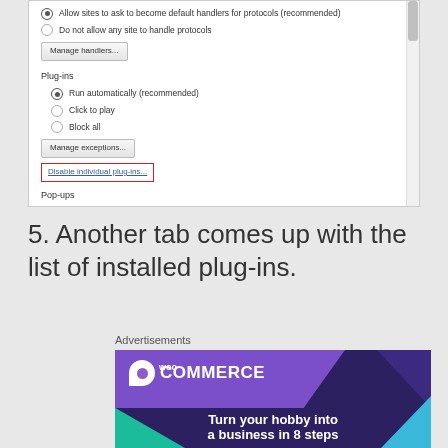[Figure (screenshot): Chrome browser settings screenshot showing Plug-ins section with radio options: Run automatically (recommended), Click to play, Block all; buttons: Manage exceptions..., Disable individual plug-ins... (highlighted with red border); Pop-ups section label at bottom]
5. Another tab comes up with the list of installed plug-ins.
Advertisements
[Figure (illustration): WooCommerce advertisement banner with purple background, WooCommerce logo, teal and blue decorative shapes, tagline: Turn your hobby into a business in 8 steps]